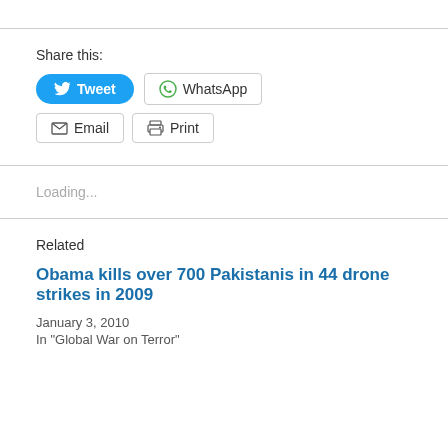Share this:
[Figure (screenshot): Social sharing buttons: Tweet (blue), WhatsApp (outlined), Email (outlined), Print (outlined)]
Loading...
Related
Obama kills over 700 Pakistanis in 44 drone strikes in 2009
January 3, 2010
In "Global War on Terror"